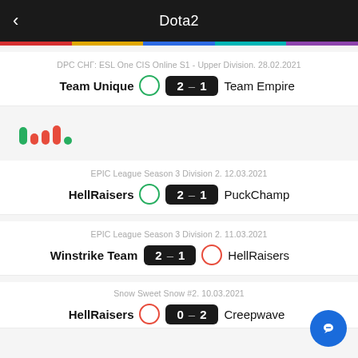Dota2
DPC СНГ: ESL One CIS Online S1 - Upper Division. 28.02.2021
Team Unique  2 — 1  Team Empire
[Figure (infographic): Loading indicator with green and red dots of varying heights]
EPIC League Season 3 Division 2. 12.03.2021
HellRaisers  2 — 1  PuckChamp
EPIC League Season 3 Division 2. 11.03.2021
Winstrike Team  2 — 1  HellRaisers
Snow Sweet Snow #2. 10.03.2021
HellRaisers  0 — 2  Creepwave